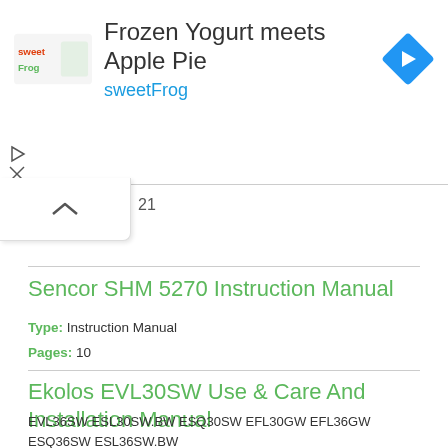[Figure (logo): sweetFrog advertisement banner with logo, title 'Frozen Yogurt meets Apple Pie', brand name 'sweetFrog', navigation icon]
21
Sencor SHM 5270 Instruction Manual
Type: Instruction Manual
Pages: 10
Ekolos EVL30SW Use & Care And Installation Manual
EVL36SW ESL30SW.BW ESQ30SW EFL30GW EFL36GW ESQ36SW ESL36SW.BW
Type: Use & Care And Installation Manual
Pages: 18